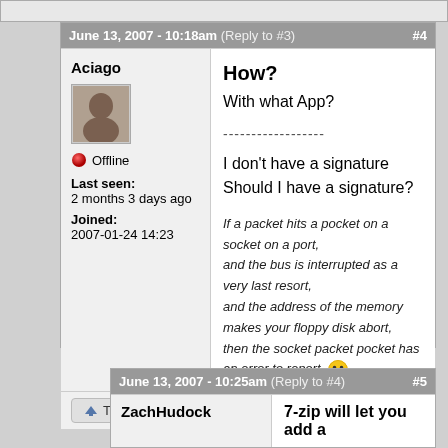June 13, 2007 - 10:18am (Reply to #3) #4
Aciago
Offline
Last seen: 2 months 3 days ago
Joined: 2007-01-24 14:23
How?
With what App?

------------------

I don't have a signature
Should I have a signature?

If a packet hits a pocket on a socket on a port,
and the bus is interrupted as a very last resort,
and the address of the memory makes your floppy disk abort,
then the socket packet pocket has an error to report
Log in or register to post comments
June 13, 2007 - 10:25am (Reply to #4) #5
ZachHudock
7-zip will let you add a